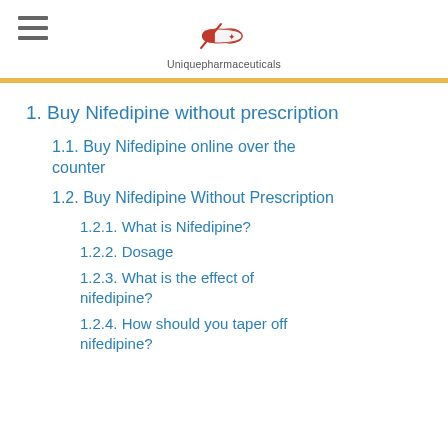[Figure (logo): Uniquepharmaceuticals logo with pill/capsule icon and text 'Uniquepharmaceuticals']
1. Buy Nifedipine without prescription
1.1. Buy Nifedipine online over the counter
1.2. Buy Nifedipine Without Prescription
1.2.1. What is Nifedipine?
1.2.2. Dosage
1.2.3. What is the effect of nifedipine?
1.2.4. How should you taper off nifedipine?